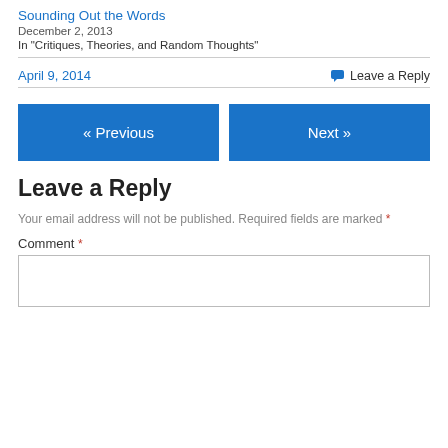Sounding Out the Words
December 2, 2013
In "Critiques, Theories, and Random Thoughts"
April 9, 2014
Leave a Reply
« Previous
Next »
Leave a Reply
Your email address will not be published. Required fields are marked *
Comment *